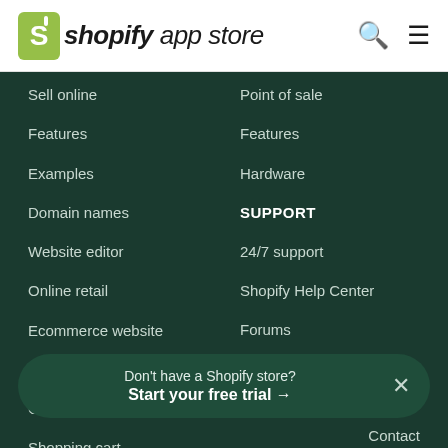[Figure (logo): Shopify App Store logo with green shopping bag icon, bold italic 'shopify' text and 'app store' text]
Sell online
Features
Examples
Domain names
Website editor
Online retail
Ecommerce website
Themes
Online retail business
Shopping cart
Point of sale
Features
Hardware
SUPPORT
24/7 support
Shopify Help Center
Forums
API documentation
Free tools
Don't have a Shopify store? Start your free trial →
Contact